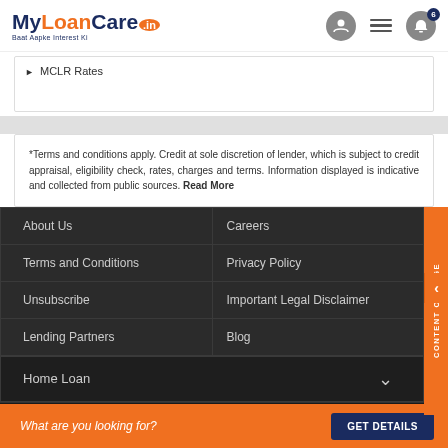MyLoanCare.in Baat Aapke Interest Ki
MCLR Rates
*Terms and conditions apply. Credit at sole discretion of lender, which is subject to credit appraisal, eligibility check, rates, charges and terms. Information displayed is indicative and collected from public sources. Read More
About Us
Careers
Terms and Conditions
Privacy Policy
Unsubscribe
Important Legal Disclaimer
Lending Partners
Blog
Home Loan
What are you looking for?
GET DETAILS